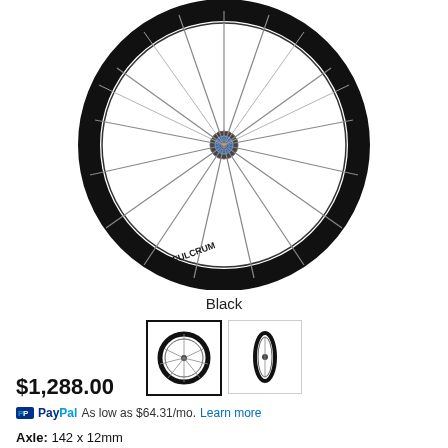[Figure (photo): Carbon bicycle wheel (front view) with black rim, multiple spokes, and a colored hub center, shown on white background]
Black
[Figure (photo): Two thumbnail images of the bicycle wheel: first thumbnail (front view, selected with thick border), second thumbnail (side/profile view)]
$1,288.00
PayPal  As low as $64.31/mo.  Learn more
Axle:  142 x 12mm